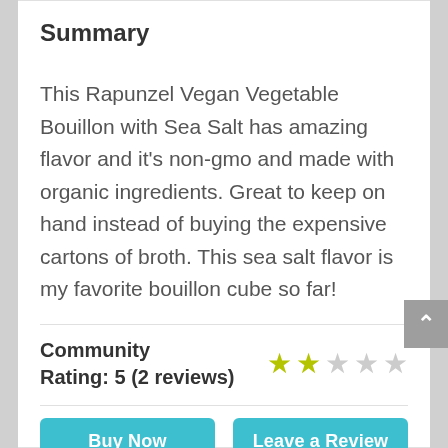Summary
This Rapunzel Vegan Vegetable Bouillon with Sea Salt has amazing flavor and it’s non-gmo and made with organic ingredients. Great to keep on hand instead of buying the expensive cartons of broth. This sea salt flavor is my favorite bouillon cube so far!
Community Rating: 5 (2 reviews)
Buy Now
Leave a Review